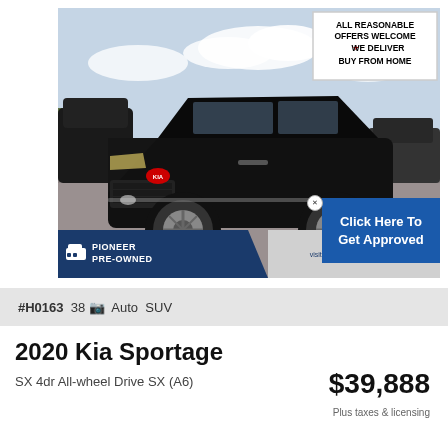[Figure (photo): Black 2020 Kia Sportage SUV parked in a dealership lot, front 3/4 view. Overlay banner in top-right corner reads: ALL REASONABLE OFFERS WELCOME + WE DELIVER BUY FROM HOME. Pioneer Pre-Owned dealer logo bar at bottom with website pioneerpreowned.com. Blue 'Click Here To Get Approved' button on right.]
#H0163  38  Auto  SUV
2020 Kia Sportage
SX 4dr All-wheel Drive SX (A6)
$39,888
Plus taxes & licensing